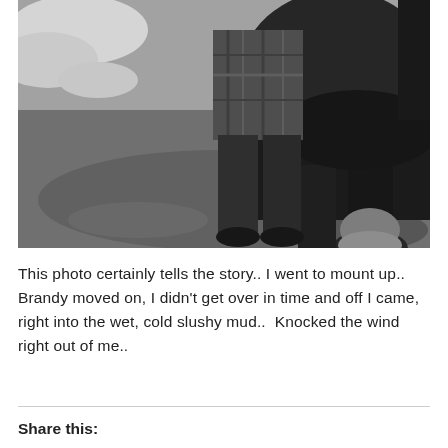[Figure (photo): Black and white photograph showing the lower body of a large hairy horse (appears to be a Clydesdale or similar draft breed) with feathered hooves standing on muddy ground with patches of snow. A person in plaid shirt and dark pants is standing next to the horse.]
This photo certainly tells the story.. I went to mount up.. Brandy moved on, I didn't get over in time and off I came, right into the wet, cold slushy mud..  Knocked the wind right out of me..
Share this: